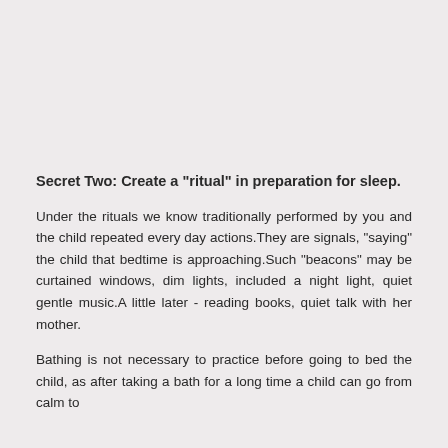Secret Two: Create a "ritual" in preparation for sleep.
Under the rituals we know traditionally performed by you and the child repeated every day actions.They are signals, "saying" the child that bedtime is approaching.Such "beacons" may be curtained windows, dim lights, included a night light, quiet gentle music.A little later - reading books, quiet talk with her mother.
Bathing is not necessary to practice before going to bed the child, as after taking a bath for a long time a child can go from calm to